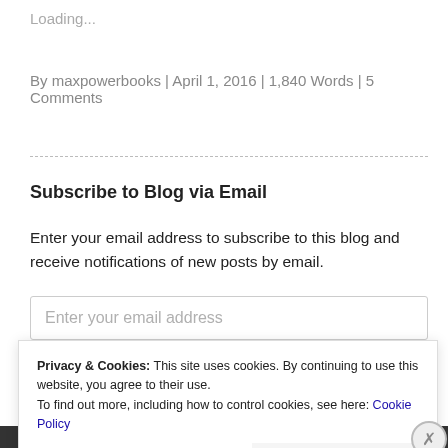Loading...
By maxpowerbooks | April 1, 2016 | 1,840 Words | 5 Comments
Subscribe to Blog via Email
Enter your email address to subscribe to this blog and receive notifications of new posts by email.
Enter your email address
Privacy & Cookies: This site uses cookies. By continuing to use this website, you agree to their use.
To find out more, including how to control cookies, see here: Cookie Policy
Close and accept